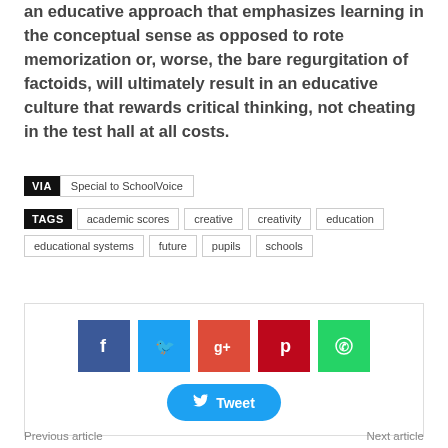an educative approach that emphasizes learning in the conceptual sense as opposed to rote memorization or, worse, the bare regurgitation of factoids, will ultimately result in an educative culture that rewards critical thinking, not cheating in the test hall at all costs.
VIA  Special to SchoolVoice
TAGS  academic scores  creative  creativity  education  educational systems  future  pupils  schools
[Figure (infographic): Social sharing buttons: Facebook, Twitter, Google+, Pinterest, WhatsApp, and a Tweet button]
Previous article
Next article